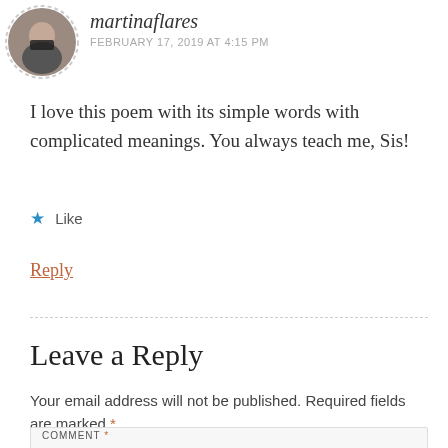[Figure (photo): Circular avatar photo of user with dashed border, person wearing a mask]
martinaflares
FEBRUARY 17, 2019 AT 4:15 PM
I love this poem with its simple words with complicated meanings. You always teach me, Sis!
★ Like
Reply
Leave a Reply
Your email address will not be published. Required fields are marked *
COMMENT *